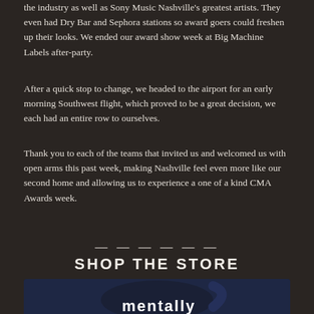the industry as well as Sony Music Nashville's greatest artists. They even had Dry Bar and Sephora stations so award goers could freshen up their looks. We ended our award show week at Big Machine Labels after-party.
After a quick stop to change, we headed to the airport for an early morning Southwest flight, which proved to be a great decision, we each had an entire row to ourselves.
Thank you to each of the teams that invited us and welcomed us with open arms this past week, making Nashville feel even more like our second home and allowing us to experience a one of a kind CMA Awards week.
SHOP THE STORE
[Figure (photo): A dark navy/black coffee mug with white text reading 'mentally' partially visible at the bottom of the image, photographed against a light background.]